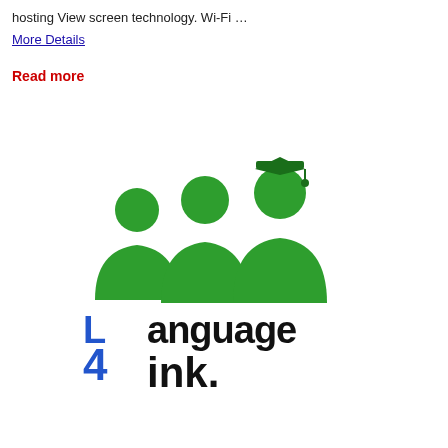hosting View screen technology. Wi-Fi …
More Details
Read more
[Figure (logo): Language 4 Link logo with three green figures (people silhouettes) with graduation cap on the tallest figure, and text 'language 4 ink.' below in black and blue stylized font]